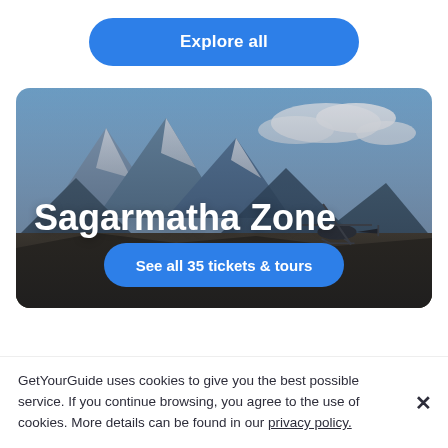Explore all
[Figure (photo): Mountain landscape photo with snowy peaks, blue sky with clouds, and a helicopter visible in the lower right portion. The Sagarmatha Zone (Everest region) is depicted. Overlaid text reads 'Sagarmatha Zone' and a blue button says 'See all 35 tickets & tours'.]
Sagarmatha Zone
See all 35 tickets & tours
GetYourGuide uses cookies to give you the best possible service. If you continue browsing, you agree to the use of cookies. More details can be found in our privacy policy.